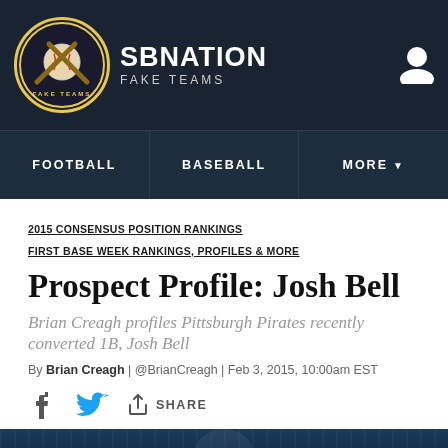SBNATION FAKE TEAMS
FOOTBALL | BASEBALL | MORE
2015 CONSENSUS POSITION RANKINGS
FIRST BASE WEEK RANKINGS, PROFILES & MORE
Prospect Profile: Josh Bell
Brian Creagh profiles Pittsburgh Pirates recently converted 1B, Josh Bell
By Brian Creagh | @BrianCreagh | Feb 3, 2015, 10:00am EST
SHARE